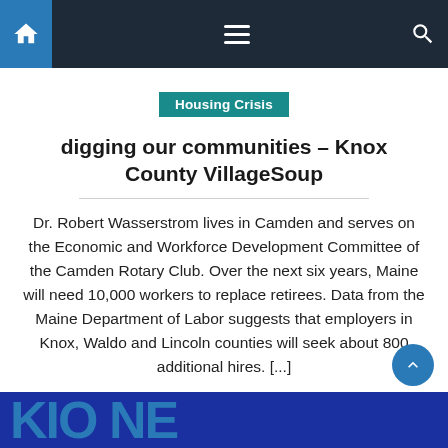Navigation bar with home, menu, and search icons
Housing Crisis
digging our communities – Knox County VillageSoup
Dr. Robert Wasserstrom lives in Camden and serves on the Economic and Workforce Development Committee of the Camden Rotary Club. Over the next six years, Maine will need 10,000 workers to replace retirees. Data from the Maine Department of Labor suggests that employers in Knox, Waldo and Lincoln counties will seek about 800 additional hires. [...]
February 17, 2022   Alice E. Stearns   Comments Off
[Figure (logo): Partial blue logo with large letters at the bottom of the page]